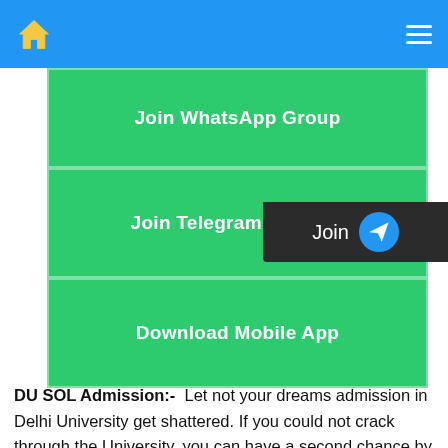[Figure (screenshot): Mobile app navigation bar with blue background, yellow home icon on left and hamburger menu icon on right]
Join WhatsApp Group
Join Telegram Channel
Download Mobile App
[Figure (screenshot): Dark popup overlay with 'Join' text and blue circle Telegram send icon]
DU SOL Admission:-  Let not your dreams admission in Delhi University get shattered. If you could not crack through the University, you can have a second chance by getting registered for the Delhi University School of Open Learning. It is a great opportunity also for the candidates who are working professionals and wish to pursue higher education. The best thing about the system is that it offers you a combined facility of distance learning as well as regular classes.